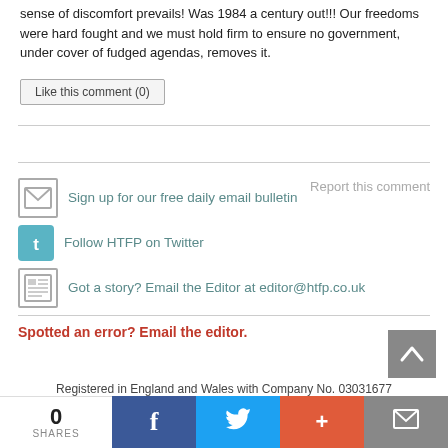sense of discomfort prevails! Was 1984 a century out!!! Our freedoms were hard fought and we must hold firm to ensure no government, under cover of fudged agendas, removes it.
Like this comment (0)
Report this comment
Sign up for our free daily email bulletin
Follow HTFP on Twitter
Got a story? Email the Editor at editor@htfp.co.uk
Spotted an error? Email the editor.
Registered in England and Wales with Company No. 03031677
0 SHARES